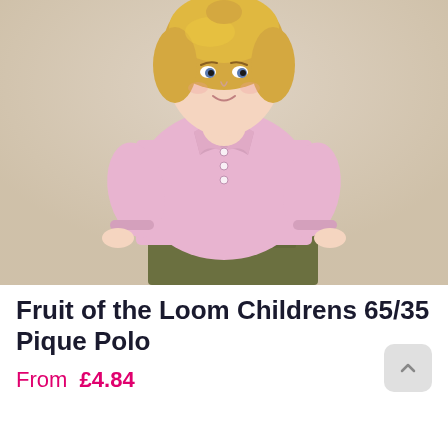[Figure (photo): A young blonde girl wearing a light pink short-sleeve pique polo shirt and olive/khaki shorts, posed against a warm beige/tan background. The photo is cropped from mid-torso up.]
Fruit of the Loom Childrens 65/35 Pique Polo
From  £4.84